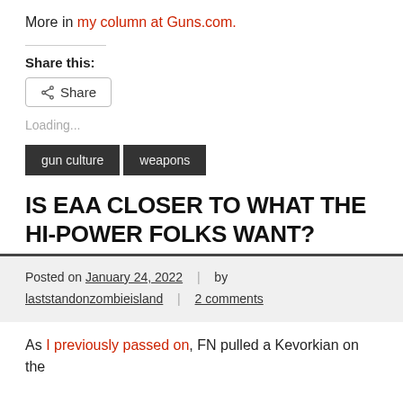More in my column at Guns.com.
Share this:
Share
Loading...
gun culture
weapons
IS EAA CLOSER TO WHAT THE HI-POWER FOLKS WANT?
Posted on January 24, 2022 | by laststandonzombieisland | 2 comments
As I previously passed on, FN pulled a Kevorkian on the